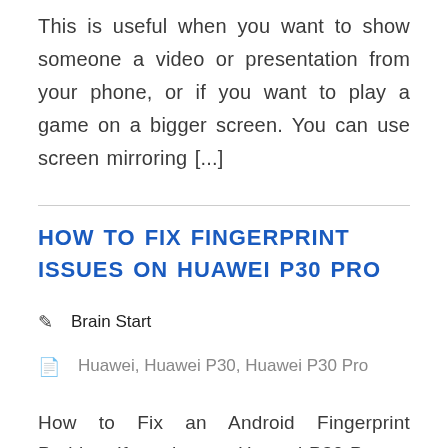This is useful when you want to show someone a video or presentation from your phone, or if you want to play a game on a bigger screen. You can use screen mirroring [...]
HOW TO FIX FINGERPRINT ISSUES ON HUAWEI P30 PRO
Brain Start
Huawei, Huawei P30, Huawei P30 Pro
How to Fix an Android Fingerprint Problem If you have a Huawei P30 Pro,